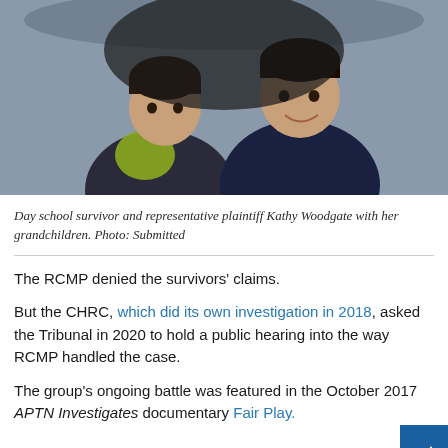[Figure (photo): Two young children (grandchildren) wearing winter jackets, facing the camera outdoors.]
Day school survivor and representative plaintiff Kathy Woodgate with her grandchildren. Photo: Submitted
The RCMP denied the survivors' claims.
But the CHRC, which did its own investigation in 2018, asked the Tribunal in 2020 to hold a public hearing into the way RCMP handled the case.
The group's ongoing battle was featured in the October 2017 APTN Investigates documentary Fair Play.